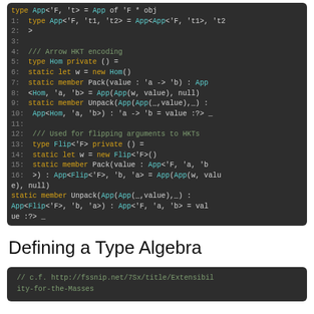[Figure (screenshot): Code screenshot showing F# type definitions for App, Hom, and Flip higher-kinded types, with line numbers 1-16 on a dark background]
Defining a Type Algebra
[Figure (screenshot): Partial code screenshot showing a comment with URL // c.f. http://fssnip.net/7Sx/title/Extensibility-for-the-Masses on dark background]